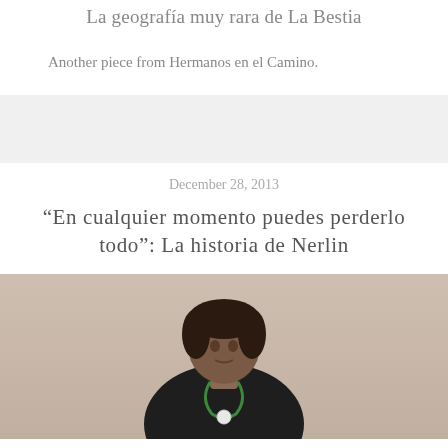La geografía muy rara de La Bestia
Another piece from Hermanos en el Camino.
December 28, 2013
“En cualquier momento puedes perderlo todo”: La historia de Nerlin
[Figure (photo): Photo of a person wearing a dark shirt and a green necklace with a white pendant, standing against a beige wall.]